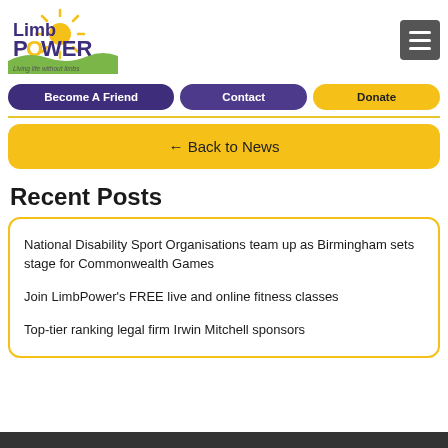[Figure (logo): LimbPower logo with sun and text 'Living life without limbs']
Become A Friend
Contact
Donate
← Back to News
Recent Posts
National Disability Sport Organisations team up as Birmingham sets stage for Commonwealth Games
Join LimbPower's FREE live and online fitness classes
Top-tier ranking legal firm Irwin Mitchell sponsors